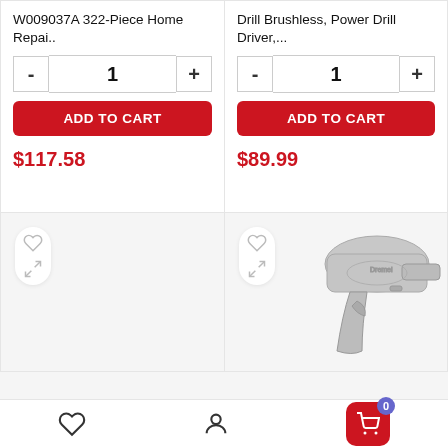W009037A 322-Piece Home Repai..
1
ADD TO CART
$117.58
Drill Brushless, Power Drill Driver,...
1
ADD TO CART
$89.99
[Figure (screenshot): Bottom product card with heart/compare icons, empty]
[Figure (photo): Product card showing a gray power drill/spray gun tool with heart and compare icons]
[Figure (infographic): Bottom navigation bar with heart icon, person icon, and red cart button with badge showing 0]